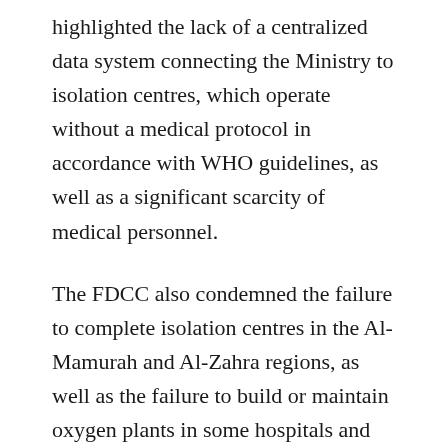highlighted the lack of a centralized data system connecting the Ministry to isolation centres, which operate without a medical protocol in accordance with WHO guidelines, as well as a significant scarcity of medical personnel.
The FDCC also condemned the failure to complete isolation centres in the Al-Mamurah and Al-Zahra regions, as well as the failure to build or maintain oxygen plants in some hospitals and centres, as well as the failure to pay for the management of private factories and working crews.